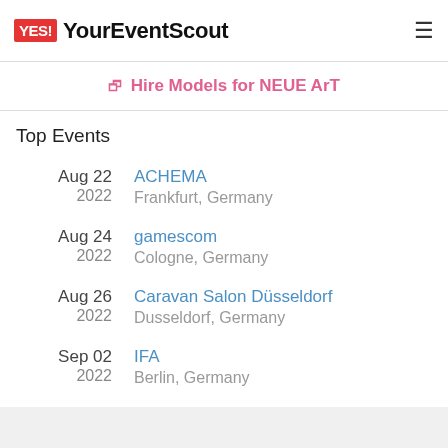YES! YourEventScout
🔗 Hire Models for NEUE ArT
Top Events
Aug 22 2022 ACHEMA Frankfurt, Germany
Aug 24 2022 gamescom Cologne, Germany
Aug 26 2022 Caravan Salon Düsseldorf Dusseldorf, Germany
Sep 02 2022 IFA Berlin, Germany